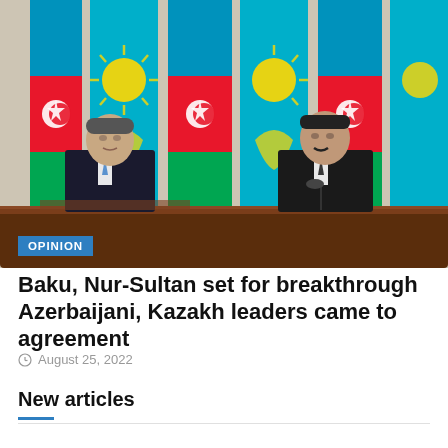[Figure (photo): Two leaders seated at a formal press conference table in front of alternating Azerbaijani and Kazakhstani flags. The left figure wears a dark suit with a blue tie; the right wears a dark suit. The image has an 'OPINION' badge overlay in the lower-left corner.]
Baku, Nur-Sultan set for breakthrough Azerbaijani, Kazakh leaders came to agreement
August 25, 2022
New articles